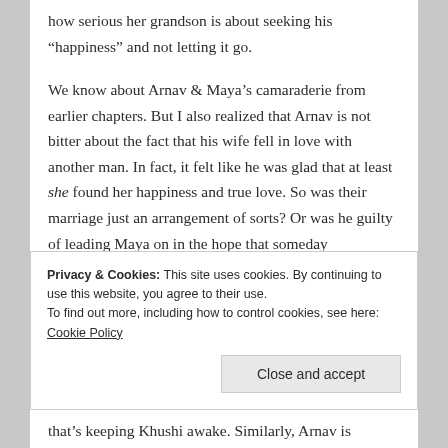how serious her grandson is about seeking his “happiness” and not letting it go.
We know about Arnav & Maya’s camaraderie from earlier chapters. But I also realized that Arnav is not bitter about the fact that his wife fell in love with another man. In fact, it felt like he was glad that at least she found her happiness and true love. So was their marriage just an arrangement of sorts? Or was he guilty of leading Maya on in the hope that someday
Privacy & Cookies: This site uses cookies. By continuing to use this website, you agree to their use.
To find out more, including how to control cookies, see here: Cookie Policy
Close and accept
that’s keeping Khushi awake. Similarly, Arnav is